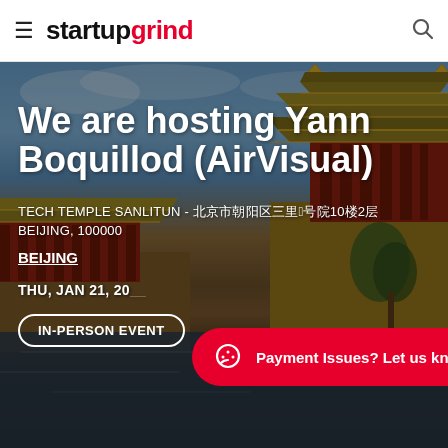startup grind
[Figure (photo): Background photo of Beijing's Forbidden City/watchtower with moat, blue sky with clouds. Dark overlay applied for text readability.]
We are hosting Yann Boquillod (AirVisual)
TECH TEMPLE SANLITUN - 北京市朝阳区三里屯路4号院10楼2层 BEIJING, 100000
BEIJING
THU, JAN 21, 20__
IN-PERSON EVENT
Payment Issues? Let us know